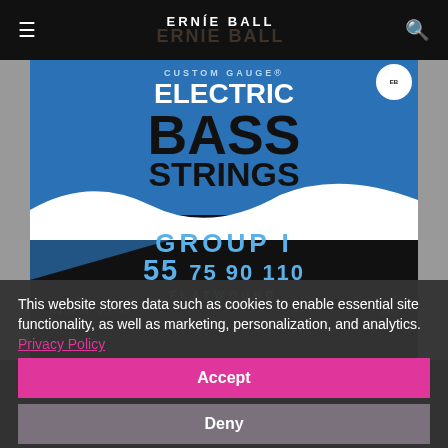☰  ERNIE BALL  🔍
[Figure (photo): Ernie Ball Custom Gauge Electric Bass Strings product package. Blue and black packaging with white wave graphic. Text reads: CUSTOM GAUGE, ELECTRIC BASS STRINGS, GROUP I, 55 75 90 110, FLATWOUND, MADE IN U.S.A., 2802]
This website stores data such as cookies to enable essential site functionality, as well as marketing, personalization, and analytics. Privacy Policy
Accept
Deny